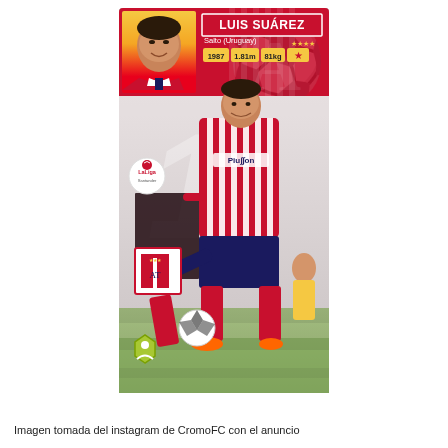[Figure (photo): Collector sticker card of Luis Suárez in Atlético de Madrid kit (red/white stripes) kicking a ball, with a smaller headshot in the top-left corner showing him in a darker jersey. The card has a red background header with the player name 'LUIS SUÁREZ', birthplace 'Salto (Uruguay)', year 1987, height 1.81m, weight 81kg, star rating badge, LaLiga Santander logo, Atlético de Madrid crest, a large background number, and a green hexagon badge at the bottom left.]
Imagen tomada del instagram de CromoFC con el anuncio